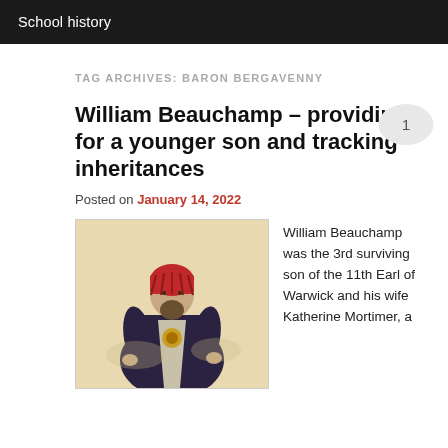School history
TAG ARCHIVES: BARON BERGAVENNY
William Beauchamp – providing for a younger son and tracking inheritances
Posted on January 14, 2022
[Figure (illustration): Historical illustration of William Beauchamp, a medieval nobleman depicted wearing a red headdress, dark robes with ornate embroidery, and holding what appears to be a chain or scepter. The figure is shown against a beige/parchment-colored background.]
William Beauchamp was the 3rd surviving son of the 11th Earl of Warwick and his wife Katherine Mortimer, a